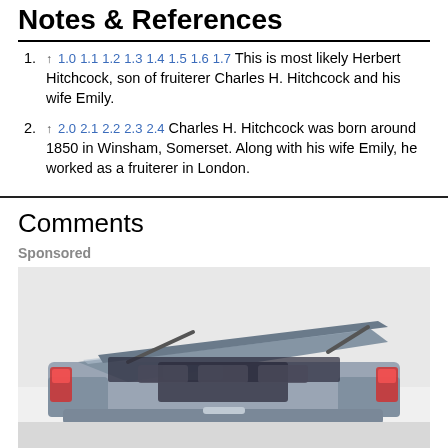Notes & References
↑ 1.0 1.1 1.2 1.3 1.4 1.5 1.6 1.7 This is most likely Herbert Hitchcock, son of fruiterer Charles H. Hitchcock and his wife Emily.
↑ 2.0 2.1 2.2 2.3 2.4 Charles H. Hitchcock was born around 1850 in Winsham, Somerset. Along with his wife Emily, he worked as a fruiterer in London.
Comments
Sponsored
[Figure (photo): Advertisement photo showing a modern SUV vehicle with open rear hatch/boot, viewed from the rear-top angle, in a light gray/silver color.]